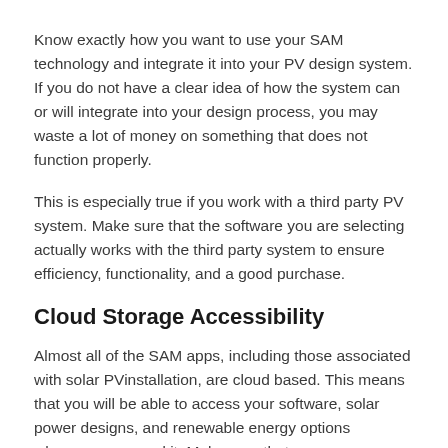Know exactly how you want to use your SAM technology and integrate it into your PV design system. If you do not have a clear idea of how the system can or will integrate into your design process, you may waste a lot of money on something that does not function properly.
This is especially true if you work with a third party PV system. Make sure that the software you are selecting actually works with the third party system to ensure efficiency, functionality, and a good purchase.
Cloud Storage Accessibility
Almost all of the SAM apps, including those associated with solar PVinstallation, are cloud based. This means that you will be able to access your software, solar power designs, and renewable energy options wherever you need it. Make sure that your company has access to a reliable and user-friendly